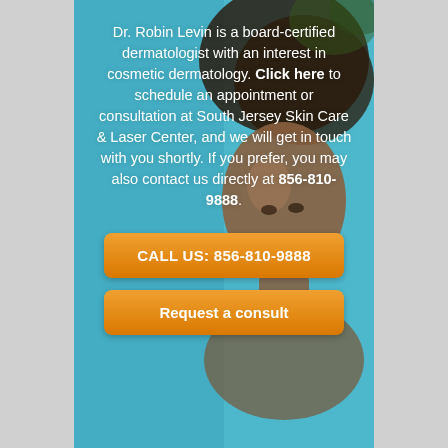[Figure (photo): Background image of a smiling Black woman with natural curly hair against a teal/light blue background, used as the backdrop for the medical dermatology advertisement panel.]
Dr. Robin Levin is a board-certified dermatologist with an interest in cosmetic dermatology. Click here to schedule an appointment or consultation at South Jersey Skin Care & Laser Center, and we will get in touch with you shortly. If you prefer, you may also contact us directly at 856-810-9888.
CALL US: 856-810-9888
Request a consult